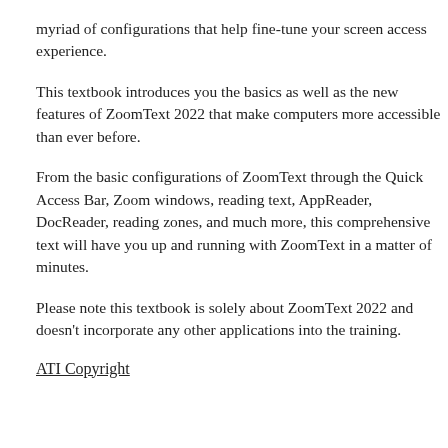myriad of configurations that help fine-tune your screen access experience.
This textbook introduces you the basics as well as the new features of ZoomText 2022 that make computers more accessible than ever before.
From the basic configurations of ZoomText through the Quick Access Bar, Zoom windows, reading text, AppReader, DocReader, reading zones, and much more, this comprehensive text will have you up and running with ZoomText in a matter of minutes.
Please note this textbook is solely about ZoomText 2022 and doesn't incorporate any other applications into the training.
ATI Copyright